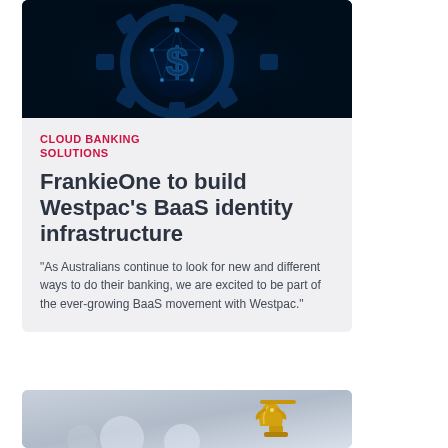[Figure (photo): Dark background digital image of a gear/cog with a glowing blue dollar sign made of network/polygon mesh lines]
CLOUD BANKING SOLUTIONS
FrankieOne to build Westpac's BaaS identity infrastructure
“As Australians continue to look for new and different ways to do their banking, we are excited to be part of the ever-growing BaaS movement with Westpac.”
[Figure (photo): Light grey/silver background with a gold trophy cup visible at the bottom right]